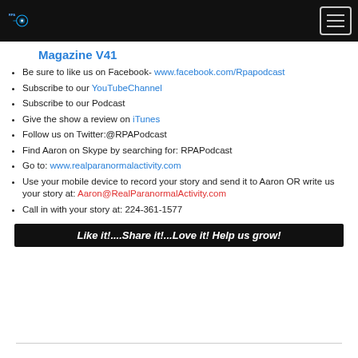RPA Podcast logo and menu button
Magazine V41
Be sure to like us on Facebook- www.facebook.com/Rpapodcast
Subscribe to our YouTubeChannel
Subscribe to our Podcast
Give the show a review on iTunes
Follow us on Twitter:@RPAPodcast
Find Aaron on Skype by searching for: RPAPodcast
Go to: www.realparanormalactivity.com
Use your mobile device to record your story and send it to Aaron OR write us your story at: Aaron@RealParanormalActivity.com
Call in with your story at: 224-361-1577
Like it!....Share it!...Love it!  Help us grow!